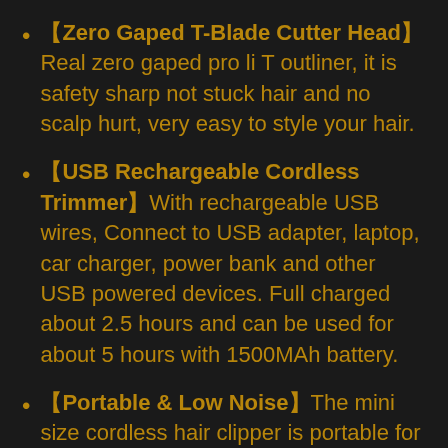【Zero Gaped T-Blade Cutter Head】Real zero gaped pro li T outliner, it is safety sharp not stuck hair and no scalp hurt, very easy to style your hair.
【USB Rechargeable Cordless Trimmer】With rechargeable USB wires, Connect to USB adapter, laptop, car charger, power bank and other USB powered devices. Full charged about 2.5 hours and can be used for about 5 hours with 1500MAh battery.
【Portable & Low Noise】The mini size cordless hair clipper is portable for traveling. And when cutting, there is very